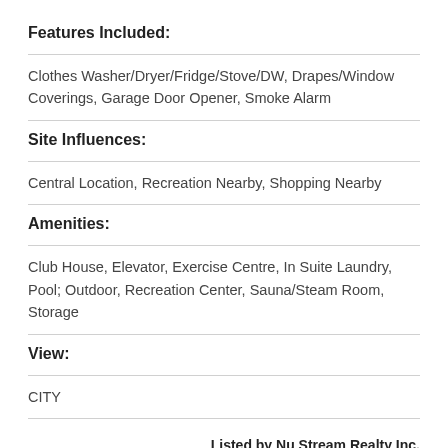Features Included:
Clothes Washer/Dryer/Fridge/Stove/DW, Drapes/Window Coverings, Garage Door Opener, Smoke Alarm
Site Influences:
Central Location, Recreation Nearby, Shopping Nearby
Amenities:
Club House, Elevator, Exercise Centre, In Suite Laundry, Pool; Outdoor, Recreation Center, Sauna/Steam Room, Storage
View:
CITY
Listed by Nu Stream Realty Inc.
Data was last updated August 20, 2022 at 02:05 PM (UTC)
Area Statistics